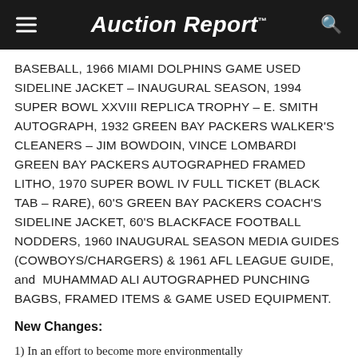Auction Report™
BASEBALL, 1966 MIAMI DOLPHINS GAME USED SIDELINE JACKET – INAUGURAL SEASON, 1994 SUPER BOWL XXVIII REPLICA TROPHY – E. SMITH AUTOGRAPH, 1932 GREEN BAY PACKERS WALKER'S CLEANERS – JIM BOWDOIN, VINCE LOMBARDI GREEN BAY PACKERS AUTOGRAPHED FRAMED LITHO, 1970 SUPER BOWL IV FULL TICKET (BLACK TAB – RARE), 60'S GREEN BAY PACKERS COACH'S SIDELINE JACKET, 60'S BLACKFACE FOOTBALL NODDERS, 1960 INAUGURAL SEASON MEDIA GUIDES (COWBOYS/CHARGERS) & 1961 AFL LEAGUE GUIDE, and  MUHAMMAD ALI AUTOGRAPHED PUNCHING BAGBS, FRAMED ITEMS & GAME USED EQUIPMENT.
New Changes:
1) In an effort to become more environmentally